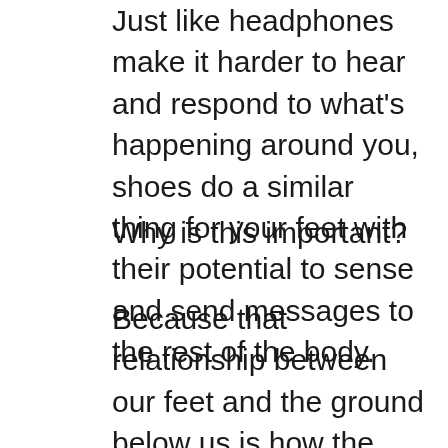Just like headphones make it harder to hear and respond to what's happening around you, shoes do a similar thing for your feet with their potential to sense and send messages to the rest of the body.
Why is this important?
Because that relationship between our feet and the ground below us is how the rest of our body learns how to hold us up, and move around. A lot of this has to do with maintaining healthy arches in our feet, which is why you might want to make pada bandha or the foot lock a part of your asana practice.